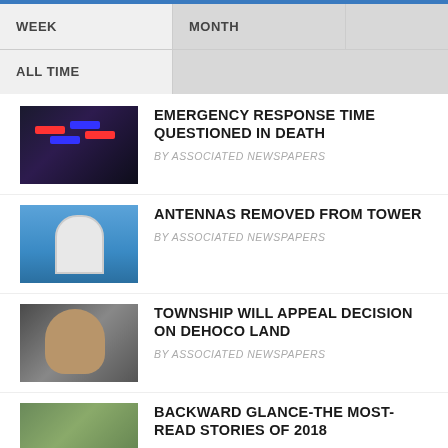WEEK | MONTH | ALL TIME
EMERGENCY RESPONSE TIME QUESTIONED IN DEATH
BY ASSOCIATED NEWSPAPERS
ANTENNAS REMOVED FROM TOWER
BY ASSOCIATED NEWSPAPERS
TOWNSHIP WILL APPEAL DECISION ON DEHOCO LAND
BY ASSOCIATED NEWSPAPERS
BACKWARD GLANCE-THE MOST-READ STORIES OF 2018
BY PLYMOUTH VOICE
SHOULD WE PROTECT OUR CHILDREN FROM OUR LOCAL LIBRARIES?